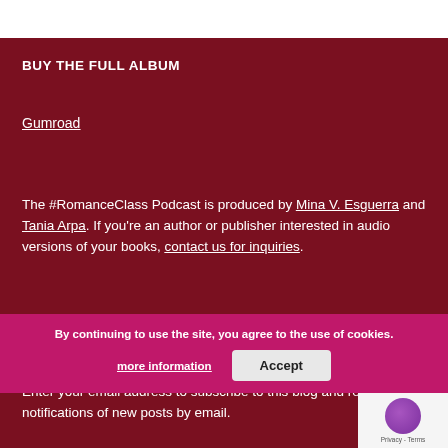BUY THE FULL ALBUM
Gumroad
The #RomanceClass Podcast is produced by Mina V. Esguerra and Tania Arpa. If you're an author or publisher interested in audio versions of your books, contact us for inquiries.
SUBSCRIBE TO BLOG VIA EMAIL
Enter your email address to subscribe to this blog and receive notifications of new posts by email.
By continuing to use the site, you agree to the use of cookies. more information Accept